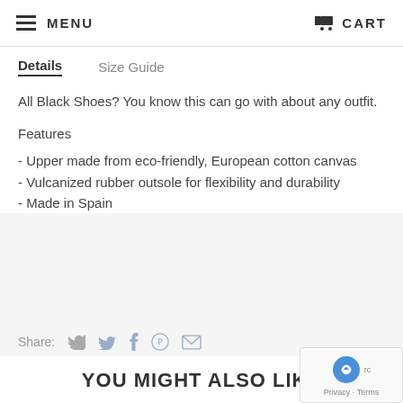MENU   CART
Details   Size Guide
All Black Shoes? You know this can go with about any outfit.
Features
- Upper made from eco-friendly, European cotton canvas
- Vulcanized rubber outsole for flexibility and durability
- Made in Spain
Share:
YOU MIGHT ALSO LIKE